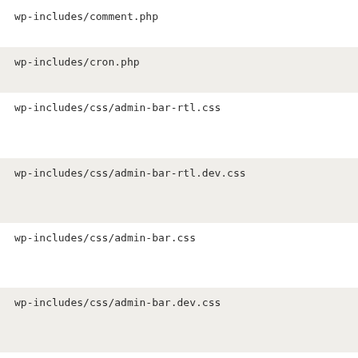wp-includes/comment.php
wp-includes/cron.php
wp-includes/css/admin-bar-rtl.css
wp-includes/css/admin-bar-rtl.dev.css
wp-includes/css/admin-bar.css
wp-includes/css/admin-bar.dev.css
wp-includes/css/jquery-ui-dialog.css
wp-includes/css/jquery-ui-dialog.dev...